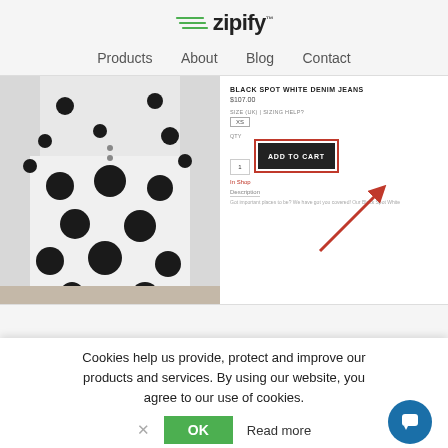[Figure (logo): Zipify logo with green speed lines and text]
Products   About   Blog   Contact
[Figure (screenshot): E-commerce product page screenshot showing Black Spot White Denim Jeans with polka dot clothing photo on left, product title, price $107.00, size selector (XS), QTY field (1), ADD TO CART button highlighted with red border, In Shop label with red arrow, Description tab, and partial product description text. Red arrow annotates the page.]
Cookies help us provide, protect and improve our products and services. By using our website, you agree to our use of cookies.
OK   Read more